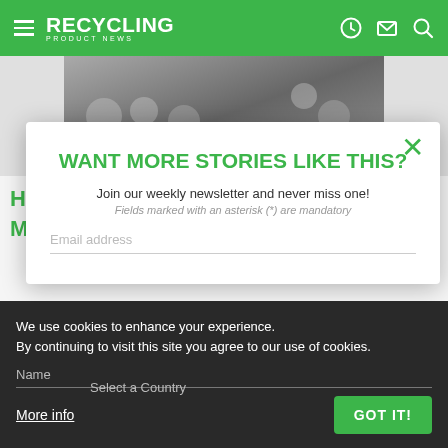RECYCLING PRODUCT NEWS
[Figure (screenshot): Ad banner with metal parts and LEARN MORE button]
WANT MORE STORIES LIKE THIS?
Join our weekly newsletter and never miss one!
Fields marked with an asterisk (*) are mandatory
Email address
Name
Select a Country
We use cookies to enhance your experience.
By continuing to visit this site you agree to our use of cookies.
More info
GOT IT!